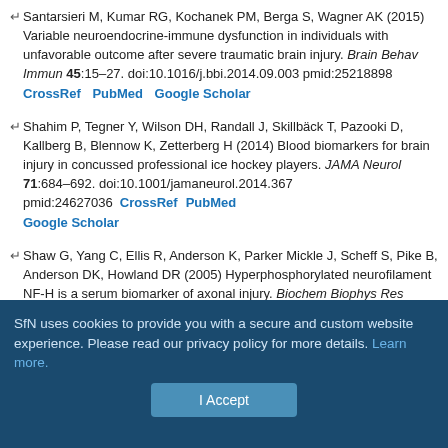Santarsieri M, Kumar RG, Kochanek PM, Berga S, Wagner AK (2015) Variable neuroendocrine-immune dysfunction in individuals with unfavorable outcome after severe traumatic brain injury. Brain Behav Immun 45:15–27. doi:10.1016/j.bbi.2014.09.003 pmid:25218898 CrossRef PubMed Google Scholar
Shahim P, Tegner Y, Wilson DH, Randall J, Skillbäck T, Pazooki D, Kallberg B, Blennow K, Zetterberg H (2014) Blood biomarkers for brain injury in concussed professional ice hockey players. JAMA Neurol 71:684–692. doi:10.1001/jamaneurol.2014.367 pmid:24627036 CrossRef PubMed Google Scholar
Shaw G, Yang C, Ellis R, Anderson K, Parker Mickle J, Scheff S, Pike B, Anderson DK, Howland DR (2005) Hyperphosphorylated neurofilament NF-H is a serum biomarker of axonal injury. Biochem Biophys Res Commun 336:1268–1277. doi:10.1016/j.bbrc.2005.08.252 CrossRef PubMed Google Scholar
SfN uses cookies to provide you with a secure and custom website experience. Please read our privacy policy for more details. Learn more.